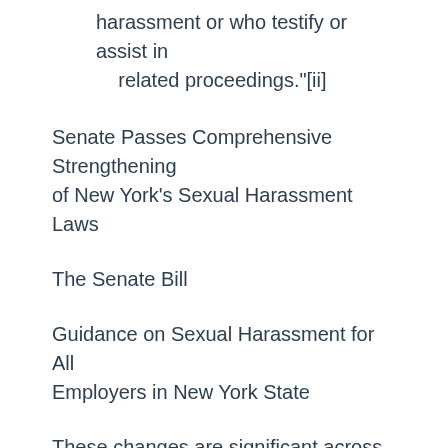harassment or who testify or assist in related proceedings."[ii]
Senate Passes Comprehensive Strengthening of New York's Sexual Harassment Laws
The Senate Bill
Guidance on Sexual Harassment for All Employers in New York State
These changes are significant across the state.  As leaders, we need to begin planning for training needs throughout the